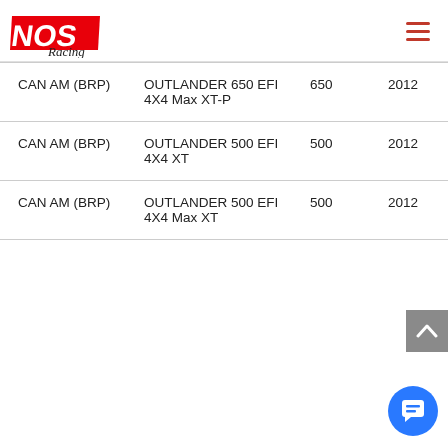NOS Racing (logo) + hamburger menu
| Make | Model | CC | Year |
| --- | --- | --- | --- |
| CAN AM (BRP) | OUTLANDER 650 EFI 4X4 Max XT-P | 650 | 2012 |
| CAN AM (BRP) | OUTLANDER 500 EFI 4X4 XT | 500 | 2012 |
| CAN AM (BRP) | OUTLANDER 500 EFI 4X4 Max XT | 500 | 2012 |